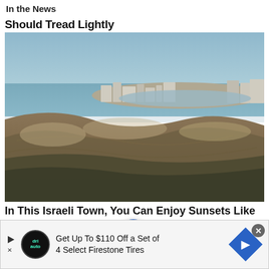In the News
Should Tread Lightly
[Figure (photo): Aerial photograph of an Israeli coastal town showing sandy hills in the foreground, a marina and harbor in the middle ground, and the Mediterranean Sea in the background under a hazy sky.]
In This Israeli Town, You Can Enjoy Sunsets Like the
[Figure (infographic): Mobile app toolbar with Twitter bird icon, Facebook f icon, a centered blue circle with hamburger menu icon, bookmark icon, and envelope/mail icon.]
Get Up To $110 Off a Set of 4 Select Firestone Tires